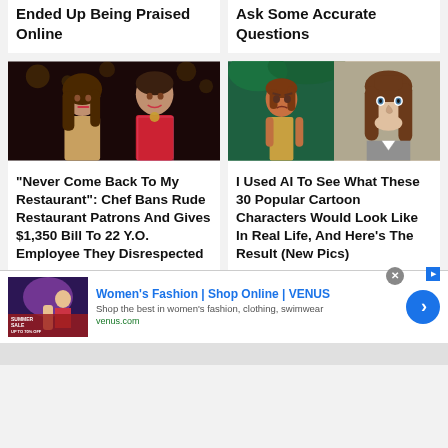Ended Up Being Praised Online
Ask Some Accurate Questions
[Figure (photo): Couple selfie photo, woman with long hair and man in red sparkly jacket]
"Never Come Back To My Restaurant": Chef Bans Rude Restaurant Patrons And Gives $1,350 Bill To 22 Y.O. Employee They Disrespected
[Figure (photo): Split image showing animated Tarzan cartoon character on left and real-life model with brown hair on right]
I Used AI To See What These 30 Popular Cartoon Characters Would Look Like In Real Life, And Here's The Result (New Pics)
[Figure (photo): Advertisement for Women's Fashion VENUS online shop showing sale imagery]
Women's Fashion | Shop Online | VENUS
Shop the best in women's fashion, clothing, swimwear
venus.com